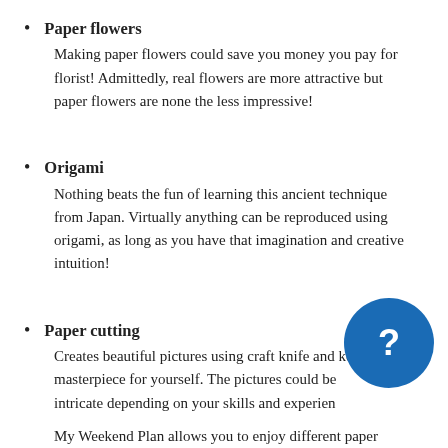Paper flowers
Making paper flowers could save you money you pay for florist! Admittedly, real flowers are more attractive but paper flowers are none the less impressive!
Origami
Nothing beats the fun of learning this ancient technique from Japan. Virtually anything can be reproduced using origami, as long as you have that imagination and creative intuition!
Paper cutting
Creates beautiful pictures using craft knife and keep your masterpiece for yourself. The pictures could be or intricate depending on your skills and experience.

My Weekend Plan allows you to enjoy different paper crafting experience. Our lesson providers are all qualified